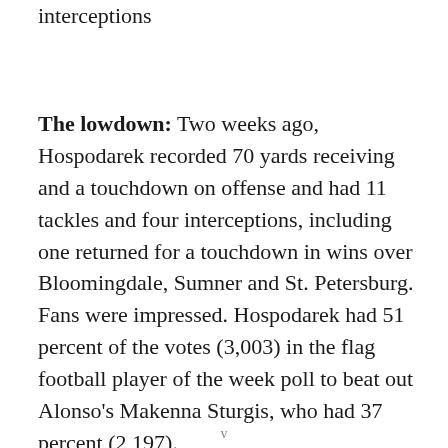yards receiving, 11 tackles, four interceptions
The lowdown: Two weeks ago, Hospodarek recorded 70 yards receiving and a touchdown on offense and had 11 tackles and four interceptions, including one returned for a touchdown in wins over Bloomingdale, Sumner and St. Petersburg. Fans were impressed. Hospodarek had 51 percent of the votes (3,003) in the flag football player of the week poll to beat out Alonso's Makenna Sturgis, who had 37 percent (2,197).
v